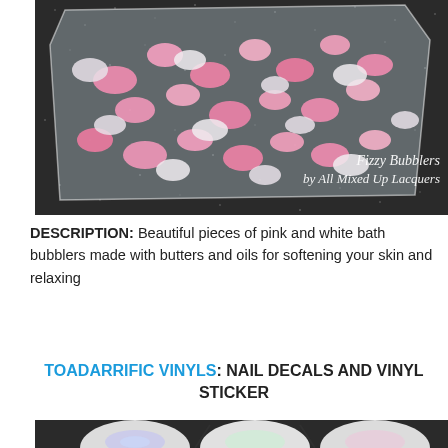[Figure (photo): A clear plastic bag filled with pink and white chunky bath bubbler pieces on a dark glittery background. White italic text overlay reads: 'Fizzy Bubblers by All Mixed Up Lacquers']
DESCRIPTION: Beautiful pieces of pink and white bath bubblers made with butters and oils for softening your skin and relaxing
TOADARRIFIC VINYLS: NAIL DECALS AND VINYL STICKER
[Figure (photo): Nail decals and vinyl stickers showing decorative nail art designs including iridescent and colorful patterns, partially visible at the bottom of the page.]